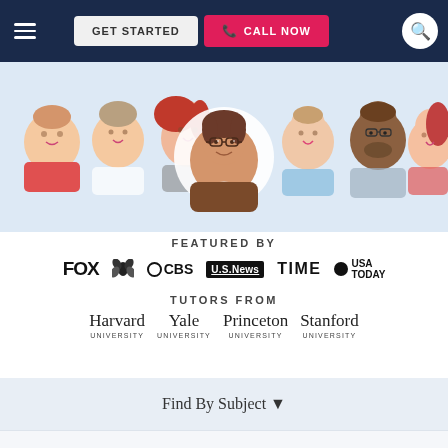[Figure (screenshot): Navigation bar with hamburger menu, GET STARTED button, red CALL NOW button with phone icon, and search icon on dark navy background]
[Figure (illustration): Cartoon illustration of seven diverse tutors/students with varied hair colors and styles on light blue background, with central figure wearing glasses and brown sweater highlighted in a white circle]
FEATURED BY
[Figure (logo): Row of media outlet logos: FOX, NBC (peacock icon), CBS (circle logo), U.S. News (boxed), TIME, USA TODAY (circle dot)]
TUTORS FROM
Harvard UNIVERSITY   Yale UNIVERSITY   Princeton UNIVERSITY   Stanford UNIVERSITY
Find By Subject ▼